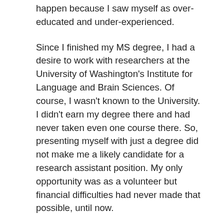happen because I saw myself as over-educated and under-experienced.
Since I finished my MS degree, I had a desire to work with researchers at the University of Washington's Institute for Language and Brain Sciences. Of course, I wasn't known to the University. I didn't earn my degree there and had never taken even one course there. So, presenting myself with just a degree did not make me a likely candidate for a research assistant position. My only opportunity was as a volunteer but financial difficulties had never made that possible, until now.
At the end of September, I will start volunteering with a post-doc at UW's ILABS for, what I hope, will be long-term or at least until I'm able to restart a PhD program. The post-doc student informed me I will start with the basics – participant recruitment – and move up through the chain as my knowledge and understanding increases.